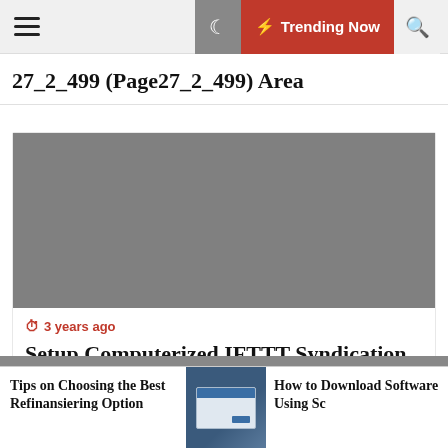Trending Now
27_2_499 (Page27_2_499) Area
[Figure (photo): Gray placeholder image for article thumbnail]
3 years ago
Setup Computerized IFTTT Syndication Networks For Any RSS
Tips on Choosing the Best Refinansiering Option
[Figure (screenshot): Small screenshot of a dialog box on a dark blue background]
How to Download Software Using Sc